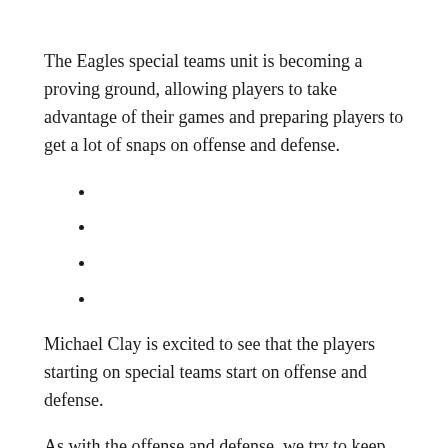The Eagles special teams unit is becoming a proving ground, allowing players to take advantage of their games and preparing players to get a lot of snaps on offense and defense.
Michael Clay is excited to see that the players starting on special teams start on offense and defense.
As with the offense and defense, we try to keep using the athlete at the most point of every game. Those guys can be better and better, Clay said. Those guys are being better and better when they are in each phase of the conversation, but as